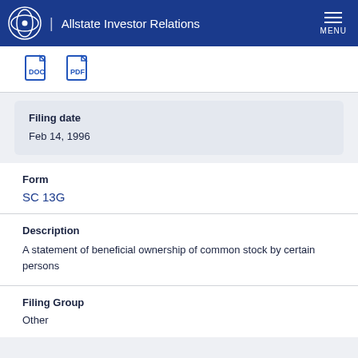Allstate Investor Relations
[Figure (logo): DOC and PDF file type icons]
Filing date
Feb 14, 1996
Form
SC 13G
Description
A statement of beneficial ownership of common stock by certain persons
Filing Group
Other